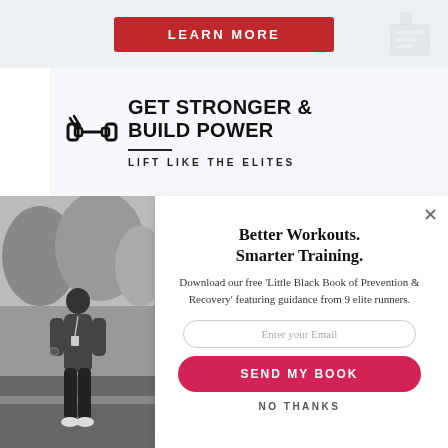[Figure (screenshot): Red LEARN MORE button on a light gray banner background with a faint icon in the top right corner]
[Figure (infographic): Promotional banner with dumbbell icon, bold text: GET STRONGER & BUILD POWER, subtitle: LIFT LIKE THE ELITES]
[Figure (photo): Black and white photo of a person standing in athletic wear outdoors]
Better Workouts. Smarter Training.
Download our free 'Little Black Book of Prevention & Recovery' featuring guidance from 9 elite runners.
Enter your Email
SEND MY BOOK
NO THANKS